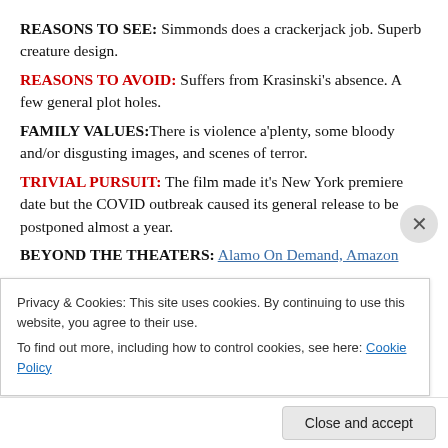REASONS TO SEE: Simmonds does a crackerjack job. Superb creature design.
REASONS TO AVOID: Suffers from Krasinski's absence. A few general plot holes.
FAMILY VALUES: There is violence a'plenty, some bloody and/or disgusting images, and scenes of terror.
TRIVIAL PURSUIT: The film made it's New York premiere date but the COVID outbreak caused its general release to be postponed almost a year.
BEYOND THE THEATERS: Alamo On Demand, Amazon
Privacy & Cookies: This site uses cookies. By continuing to use this website, you agree to their use. To find out more, including how to control cookies, see here: Cookie Policy
Close and accept